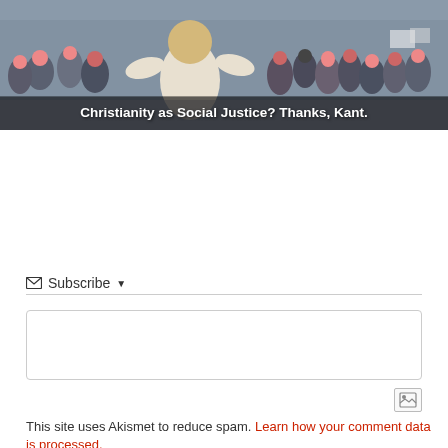[Figure (photo): Crowd of people marching/walking at what appears to be a social justice march or rally, many wearing pink hats. Viewed from behind. Title overlay reads 'Christianity as Social Justice? Thanks, Kant.']
Christianity as Social Justice? Thanks, Kant.
Subscribe ▼
Join the discussion
This site uses Akismet to reduce spam. Learn how your comment data is processed.